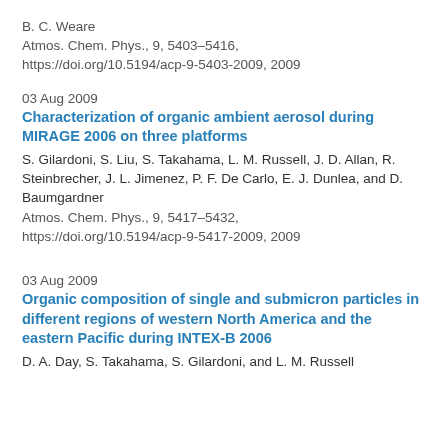B. C. Weare
Atmos. Chem. Phys., 9, 5403–5416,
https://doi.org/10.5194/acp-9-5403-2009, 2009
03 Aug 2009
Characterization of organic ambient aerosol during MIRAGE 2006 on three platforms
S. Gilardoni, S. Liu, S. Takahama, L. M. Russell, J. D. Allan, R. Steinbrecher, J. L. Jimenez, P. F. De Carlo, E. J. Dunlea, and D. Baumgardner
Atmos. Chem. Phys., 9, 5417–5432,
https://doi.org/10.5194/acp-9-5417-2009, 2009
03 Aug 2009
Organic composition of single and submicron particles in different regions of western North America and the eastern Pacific during INTEX-B 2006
D. A. Day, S. Takahama, S. Gilardoni, and L. M. Russell